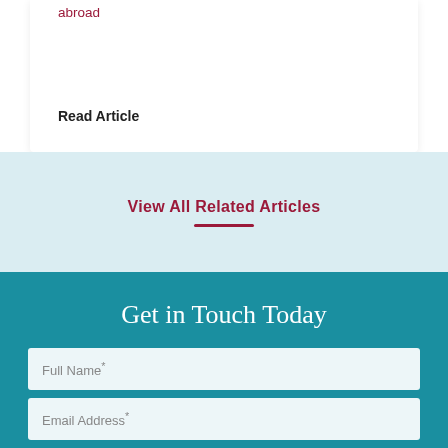abroad
Read Article
View All Related Articles
Get in Touch Today
Full Name*
Email Address*
Phone Number*